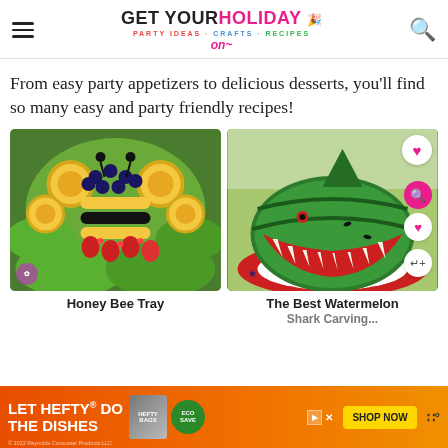GET YOUR HOLIDAY on | PARTY IDEAS · CRAFTS · RECIPES
From easy party appetizers to delicious desserts, you'll find so many easy and party friendly recipes!
[Figure (photo): Honey bee shaped fruit tray made from pineapple rings, blueberries, strawberries, and other fruits arranged on lettuce]
Honey Bee Tray
[Figure (photo): Watermelon carved into a shark shape with teeth showing red interior, placed on patriotic plate]
The Best Watermelon Shark Carving
[Figure (photo): Advertisement banner: LET HEFTY DO THE DISHES - ECOSAVE - SHOP NOW with Reynolds Consumer Products branding]